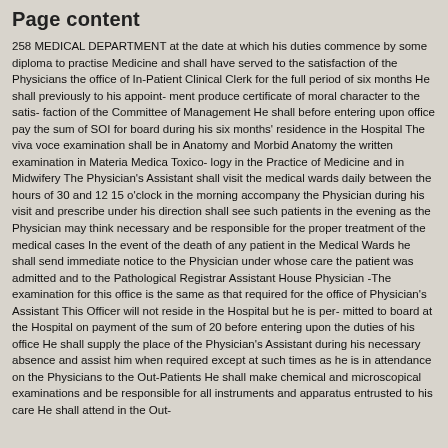Page content
258 MEDICAL DEPARTMENT at the date at which his duties commence by some diploma to practise Medicine and shall have served to the satisfaction of the Physicians the office of In-Patient Clinical Clerk for the full period of six months He shall previously to his appoint- ment produce certificate of moral character to the satis- faction of the Committee of Management He shall before entering upon office pay the sum of SOI for board during his six months' residence in the Hospital The viva voce examination shall be in Anatomy and Morbid Anatomy the written examination in Materia Medica Toxico- logy in the Practice of Medicine and in Midwifery The Physician's Assistant shall visit the medical wards daily between the hours of 30 and 12 15 o'clock in the morning accompany the Physician during his visit and prescribe under his direction shall see such patients in the evening as the Physician may think necessary and be responsible for the proper treatment of the medical cases In the event of the death of any patient in the Medical Wards he shall send immediate notice to the Physician under whose care the patient was admitted and to the Pathological Registrar Assistant House Physician -The examination for this office is the same as that required for the office of Physician's Assistant This Officer will not reside in the Hospital but he is per- mitted to board at the Hospital on payment of the sum of 20 before entering upon the duties of his office He shall supply the place of the Physician's Assistant during his necessary absence and assist him when required except at such times as he is in attendance on the Physicians to the Out-Patients He shall make chemical and microscopical examinations and be responsible for all instruments and apparatus entrusted to his care He shall attend in the Out- Patients department at stated periods during each day and also the S